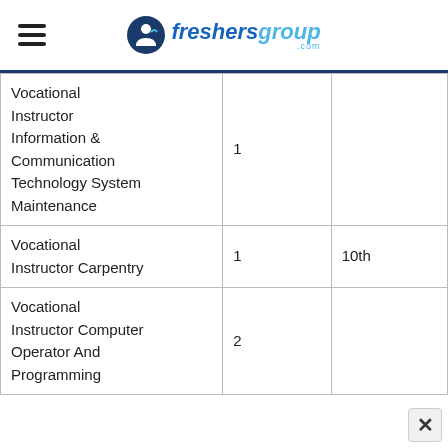freshersgroup.com
| Position | Vacancies | Qualification |
| --- | --- | --- |
| Vocational Instructor Information & Communication Technology System Maintenance | 1 | 10th |
| Vocational Instructor Carpentry | 1 | 10th |
| Vocational Instructor Computer Operator And Programming | 2 |  |